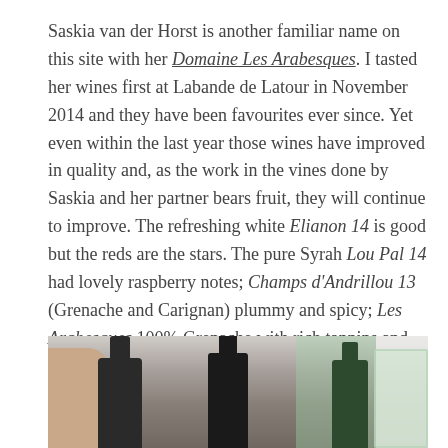Saskia van der Horst is another familiar name on this site with her Domaine Les Arabesques. I tasted her wines first at Labande de Latour in November 2014 and they have been favourites ever since. Yet even within the last year those wines have improved in quality and, as the work in the vines done by Saskia and her partner bears fruit, they will continue to improve. The refreshing white Elianon 14 is good but the reds are the stars. The pure Syrah Lou Pal 14 had lovely raspberry notes; Champs d'Andrillou 13 (Grenache and Carignan) plummy and spicy; Les Arabesques 100% Grenache with rich tannins and chocolate flavours. All very good wines. Saskia is 8 months pregnant, I wish all concerned well and congratulate them on their wines and personal futures.
[Figure (photo): Close-up photograph of several dark wine bottles being held, with a green background and a glass visible on the right side.]